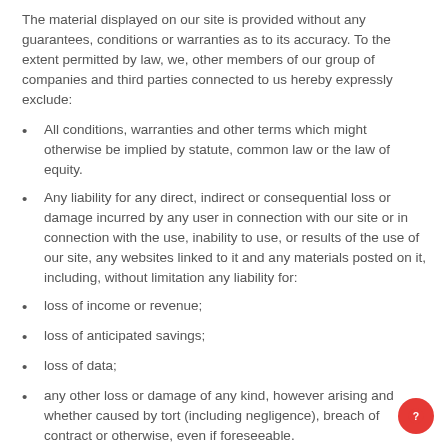The material displayed on our site is provided without any guarantees, conditions or warranties as to its accuracy. To the extent permitted by law, we, other members of our group of companies and third parties connected to us hereby expressly exclude:
All conditions, warranties and other terms which might otherwise be implied by statute, common law or the law of equity.
Any liability for any direct, indirect or consequential loss or damage incurred by any user in connection with our site or in connection with the use, inability to use, or results of the use of our site, any websites linked to it and any materials posted on it, including, without limitation any liability for:
loss of income or revenue;
loss of anticipated savings;
loss of data;
any other loss or damage of any kind, however arising and whether caused by tort (including negligence), breach of contract or otherwise, even if foreseeable.
This does not affect our liability for death or personal injury arising from our negligence, nor our liability for fraudulent